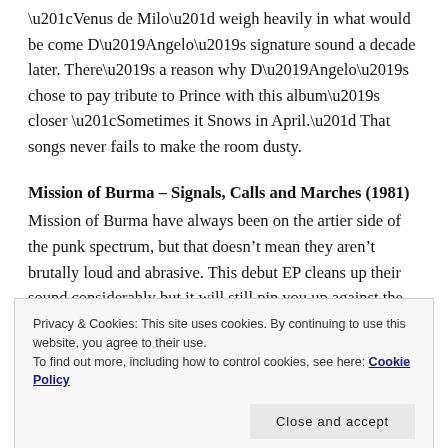“Venus de Milo” weigh heavily in what would be come D’Angelo’s signature sound a decade later. There’s a reason why D’Angelo’s chose to pay tribute to Prince with this album’s closer “Sometimes it Snows in April.” That songs never fails to make the room dusty.
Mission of Burma – Signals, Calls and Marches (1981)
Mission of Burma have always been on the artier side of the punk spectrum, but that doesn’t mean they aren’t brutally loud and abrasive. This debut EP cleans up their sound considerably but it will still pin you up against the back wall if you aren’t watching out. The
Privacy & Cookies: This site uses cookies. By continuing to use this website, you agree to their use.
To find out more, including how to control cookies, see here: Cookie Policy
platter. There is a lot of unused wax on this essential